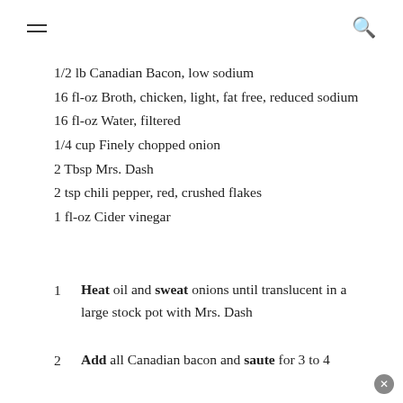≡  🔍
1/2 lb Canadian Bacon, low sodium
16 fl-oz Broth, chicken, light, fat free, reduced sodium
16 fl-oz Water, filtered
1/4 cup Finely chopped onion
2 Tbsp Mrs. Dash
2 tsp chili pepper, red, crushed flakes
1 fl-oz Cider vinegar
1  Heat oil and sweat onions until translucent in a large stock pot with Mrs. Dash
2  Add all Canadian bacon and saute for 3 to 4